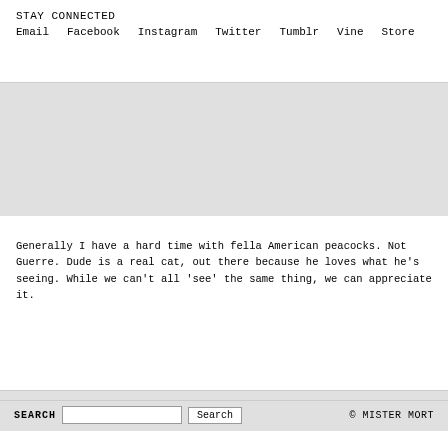STAY CONNECTED
Email   Facebook   Instagram   Twitter   Tumblr   Vine   Store
[Figure (other): Gray rectangular block (advertisement or image placeholder)]
Generally I have a hard time with fella American peacocks. Not Guerre. Dude is a real cat, out there because he loves what he’s seeing. While we can’t all ‘see’ the same thing, we can appreciate it.
SEARCH   [input]   Search   © MISTER MORT